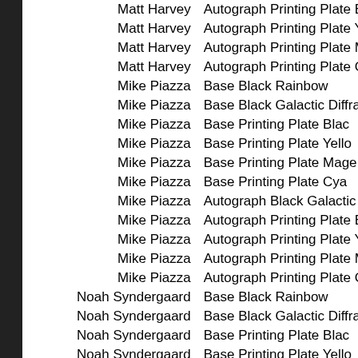| Player | Card |
| --- | --- |
| Matt Harvey | Autograph Printing Plate B... |
| Matt Harvey | Autograph Printing Plate Y... |
| Matt Harvey | Autograph Printing Plate Ma... |
| Matt Harvey | Autograph Printing Plate C... |
| Mike Piazza | Base Black Rainbow |
| Mike Piazza | Base Black Galactic Diffra... |
| Mike Piazza | Base Printing Plate Blac... |
| Mike Piazza | Base Printing Plate Yello... |
| Mike Piazza | Base Printing Plate Mage... |
| Mike Piazza | Base Printing Plate Cya... |
| Mike Piazza | Autograph Black Galactic Di... |
| Mike Piazza | Autograph Printing Plate B... |
| Mike Piazza | Autograph Printing Plate Ye... |
| Mike Piazza | Autograph Printing Plate Ma... |
| Mike Piazza | Autograph Printing Plate C... |
| Noah Syndergaard | Base Black Rainbow |
| Noah Syndergaard | Base Black Galactic Diffra... |
| Noah Syndergaard | Base Printing Plate Blac... |
| Noah Syndergaard | Base Printing Plate Yello... |
| Noah Syndergaard | Base Printing Plate Mage... |
| Noah Syndergaard | Base Printing Plate Cya... |
| Noah Syndergaard | Autograph Black Galactic Di... |
| Noah Syndergaard | Autograph Printing Plate B... |